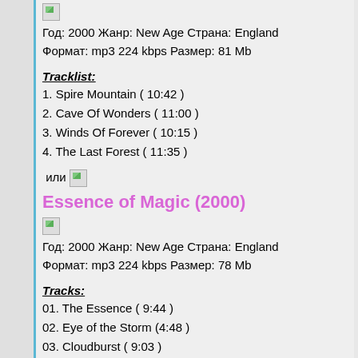[Figure (illustration): Small broken image placeholder icon]
Год: 2000 Жанр: New Age Страна: England Формат: mp3 224 kbps Размер: 81 Mb
Tracklist:
1. Spire Mountain ( 10:42 )
2. Cave Of Wonders ( 11:00 )
3. Winds Of Forever ( 10:15 )
4. The Last Forest ( 11:35 )
или
[Figure (illustration): Small broken image placeholder icon]
Essence of Magic (2000)
[Figure (illustration): Small broken image placeholder icon]
Год: 2000 Жанр: New Age Страна: England Формат: mp3 224 kbps Размер: 78 Mb
Tracks:
01. The Essence ( 9:44 )
02. Eye of the Storm (4:48 )
03. Cloudburst ( 9:03 )
04. The Magic ( 10:02 )
05. Ride the Wind ( 5:07 )